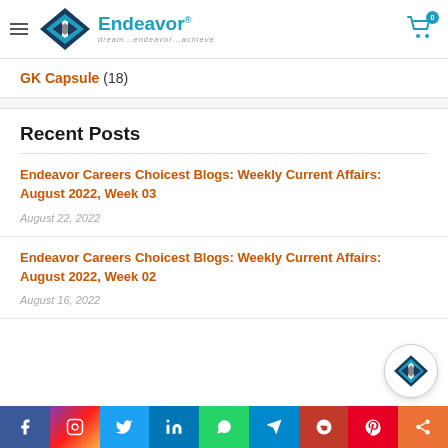Endeavor — dream...endeavor...achieve
GK Capsule (18)
Recent Posts
Endeavor Careers Choicest Blogs: Weekly Current Affairs: August 2022, Week 03
August 22, 2022
Endeavor Careers Choicest Blogs: Weekly Current Affairs: August 2022, Week 02
August 16, 2022
[Figure (other): Row of social media share icons: Facebook, Instagram, Twitter, LinkedIn, WhatsApp, Telegram, Reddit, Pinterest, Share]